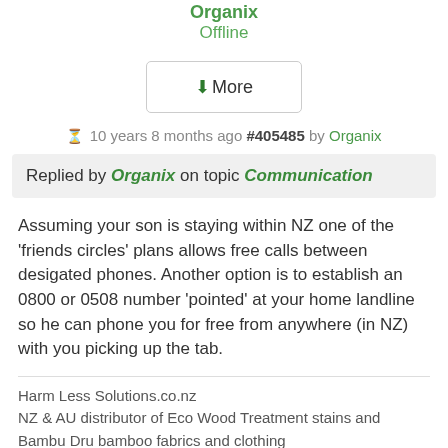Organix
Offline
↓More
10 years 8 months ago #405485 by Organix
Replied by Organix on topic Communication
Assuming your son is staying within NZ one of the 'friends circles' plans allows free calls between desigated phones. Another option is to establish an 0800 or 0508 number 'pointed' at your home landline so he can phone you for free from anywhere (in NZ) with you picking up the tab.
Harm Less Solutions.co.nz
NZ & AU distributor of Eco Wood Treatment stains and Bambu Dru bamboo fabrics and clothing